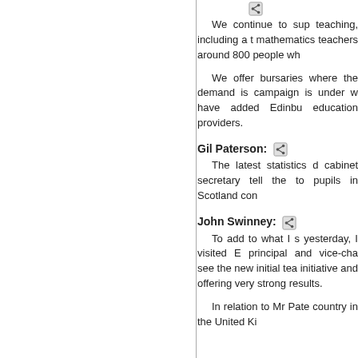We continue to support the teaching, including a training for mathematics teachers, reaching around 800 people wh...
We offer bursaries ... where the demand is ... campaign is under w... have added Edinbu... education providers.
Gil Paterson: The latest statistics d... cabinet secretary tell the... to pupils in Scotland con...
John Swinney: To add to what I s... yesterday, I visited E... principal and vice-cha... see the new initial tea... initiative and offering... very strong results.
In relation to Mr Pate... country in the United Ki...